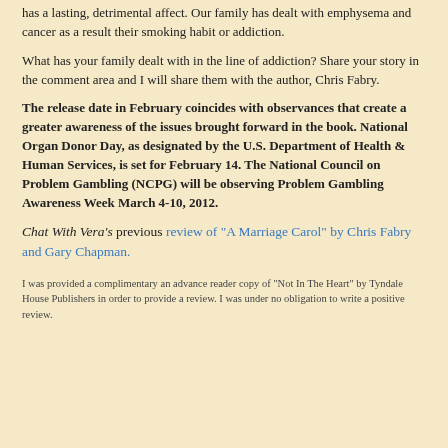has a lasting, detrimental affect. Our family has dealt with emphysema and cancer as a result their smoking habit or addiction.
What has your family dealt with in the line of addiction? Share your story in the comment area and I will share them with the author, Chris Fabry.
The release date in February coincides with observances that create a greater awareness of the issues brought forward in the book. National Organ Donor Day, as designated by the U.S. Department of Health & Human Services, is set for February 14. The National Council on Problem Gambling (NCPG) will be observing Problem Gambling Awareness Week March 4-10, 2012.
Chat With Vera's previous review of "A Marriage Carol" by Chris Fabry and Gary Chapman.
I was provided a complimentary an advance reader copy of "Not In The Heart" by Tyndale House Publishers in order to provide a review. I was under no obligation to write a positive review.